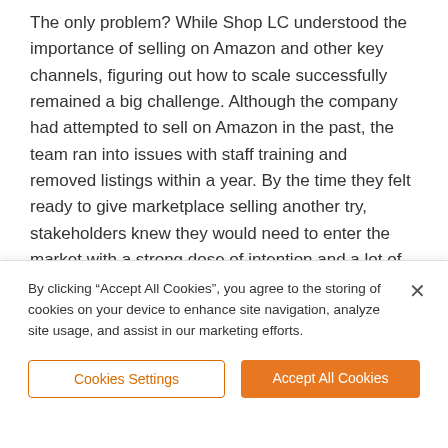The only problem? While Shop LC understood the importance of selling on Amazon and other key channels, figuring out how to scale successfully remained a big challenge. Although the company had attempted to sell on Amazon in the past, the team ran into issues with staff training and removed listings within a year. By the time they felt ready to give marketplace selling another try, stakeholders knew they would need to enter the market with a strong dose of intention and a lot of preparedness.
That's when Shop LC decided to partner with
By clicking “Accept All Cookies”, you agree to the storing of cookies on your device to enhance site navigation, analyze site usage, and assist in our marketing efforts.